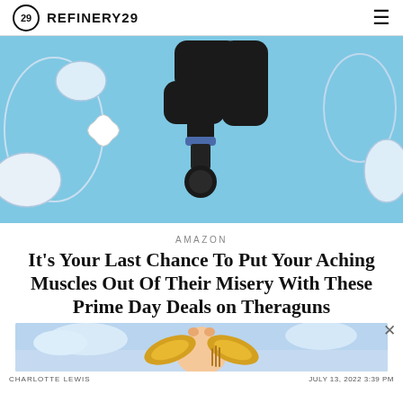REFINERY29
[Figure (photo): A black Theragun massage gun shown against a light blue illustrated background with abstract line art shapes.]
AMAZON
It's Your Last Chance To Put Your Aching Muscles Out Of Their Misery With These Prime Day Deals on Theraguns
[Figure (photo): Advertisement banner showing a cherub/angel figure with golden wings against a sky background.]
CHARLOTTE LEWIS   JULY 13, 2022 3:39 PM